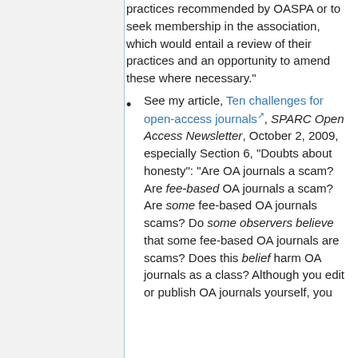practices recommended by OASPA or to seek membership in the association, which would entail a review of their practices and an opportunity to amend these where necessary."
See my article, Ten challenges for open-access journals, SPARC Open Access Newsletter, October 2, 2009, especially Section 6, "Doubts about honesty": "Are OA journals a scam? Are fee-based OA journals a scam? Are some fee-based OA journals scams? Do some observers believe that some fee-based OA journals are scams? Does this belief harm OA journals as a class? Although you edit or publish OA journals yourself, you